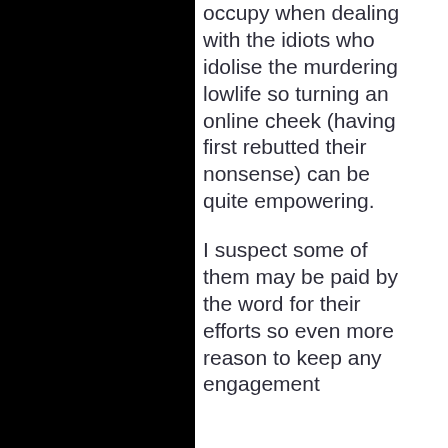occupy when dealing with the idiots who idolise the murdering lowlife so turning an online cheek (having first rebutted their nonsense) can be quite empowering.
I suspect some of them may be paid by the word for their efforts so even more reason to keep any engagement